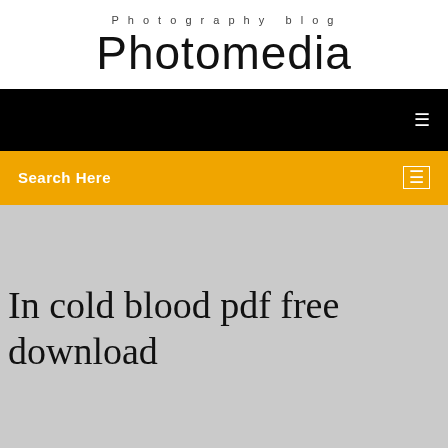Photography blog
Photomedia
Search Here
In cold blood pdf free download